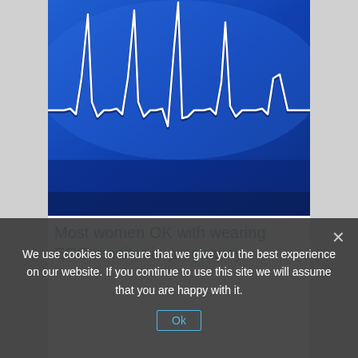[Figure (photo): ECG heartbeat waveform on a blue background — white line showing multiple QRS complexes against a vivid blue gradient background]
Most women OK with wearing ECG monitor in pregnancy
We use cookies to ensure that we give you the best experience on our website. If you continue to use this site we will assume that you are happy with it.
Ok